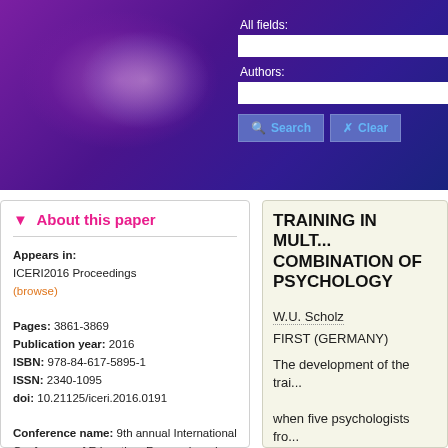[Figure (screenshot): Purple gradient banner header with search fields (All fields, Authors) and Search/Clear buttons]
About this paper
Appears in: ICERI2016 Proceedings (browse)
Pages: 3861-3869
Publication year: 2016
ISBN: 978-84-617-5895-1
ISSN: 2340-1095
doi: 10.21125/iceri.2016.0191
Conference name: 9th annual International Conference of Education, Research and Innovation
Dates: 14-16 November, 2016
Location: Seville, Spain
TRAINING IN MULT... COMBINATION OF PSYCHOLOGY
W.U. Scholz
FIRST (GERMANY)
The development of the trai... when five psychologists fro...